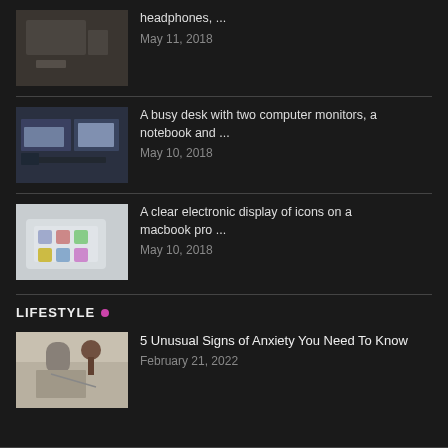[Figure (photo): Office desk with headphones and items from above]
headphones, ...
May 11, 2018
[Figure (photo): A busy desk with two computer monitors and a notebook]
A busy desk with two computer monitors, a notebook and ...
May 10, 2018
[Figure (photo): A clear electronic display of icons on a macbook pro]
A clear electronic display of icons on a macbook pro ...
May 10, 2018
LIFESTYLE
[Figure (photo): Person writing at a desk with a cup]
5 Unusual Signs of Anxiety You Need To Know
February 21, 2022